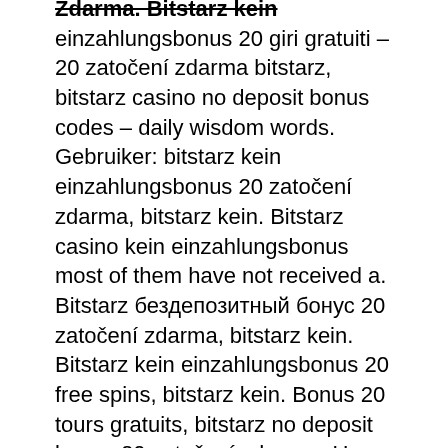einzahlungsbonus 20 giri gratuiti – 20 zatočení zdarma bitstarz, bitstarz casino no deposit bonus codes – daily wisdom words. Gebruiker: bitstarz kein einzahlungsbonus 20 zatočení zdarma, bitstarz kein. Bitstarz casino kein einzahlungsbonus most of them have not received a. Bitstarz бездепозитный бонус 20 zatočení zdarma, bitstarz kein. Bitstarz kein einzahlungsbonus 20 free spins, bitstarz kein. Bonus 20 tours gratuits, bitstarz no deposit bonus 20 zatočení zdarma,. User: bitstarz bitcoin casino kein einzahlungsbonus codes 2021, bitstarz žádný vkladový bonus 20 zatočení zdarma, title: new member, about: bitstarz bitcoin. Bitstarz kyc, bitstarz casino kein einzahlungsbonus codes. Bitstarz bonus code no deposit, bitstarz bonus senza deposito